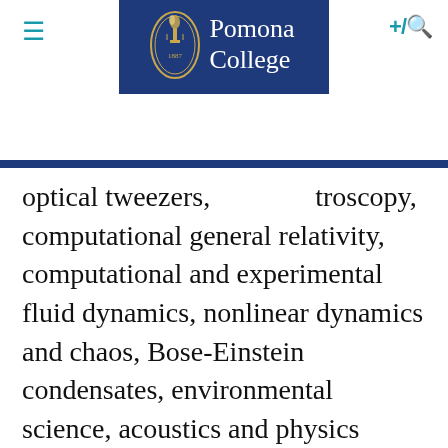Pomona College
optical tweezers, spectroscopy, computational general relativity, computational and experimental fluid dynamics, nonlinear dynamics and chaos, Bose-Einstein condensates, environmental science, acoustics and physics education research. Astronomy research projects have included monitoring active galactic nuclei, quasar absorption line spectroscopy, telescope instrument design, adaptive optics, analyzing optics, analyzing Spitzer and